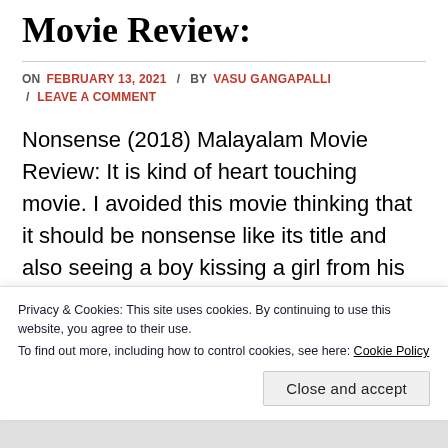Movie Review:
ON FEBRUARY 13, 2021 / BY VASU GANGAPALLI / LEAVE A COMMENT
Nonsense (2018) Malayalam Movie Review: It is kind of heart touching movie. I avoided this movie thinking that it should be nonsense like its title and also seeing a boy kissing a girl from his bicycle, but I
Privacy & Cookies: This site uses cookies. By continuing to use this website, you agree to their use.
To find out more, including how to control cookies, see here: Cookie Policy
Close and accept